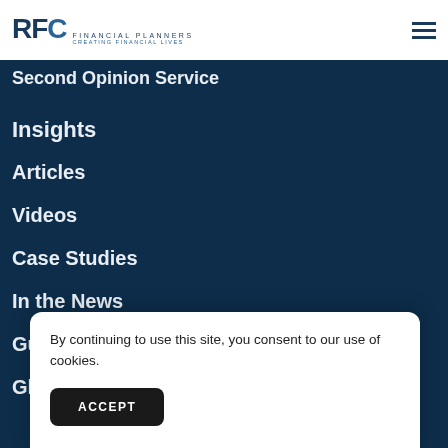RFC Financial Planners — Creating Financial Lives
Second Opinion Service
Insights
Articles
Videos
Case Studies
In the News
Guides
By continuing to use this site, you consent to our use of cookies.
ACCEPT